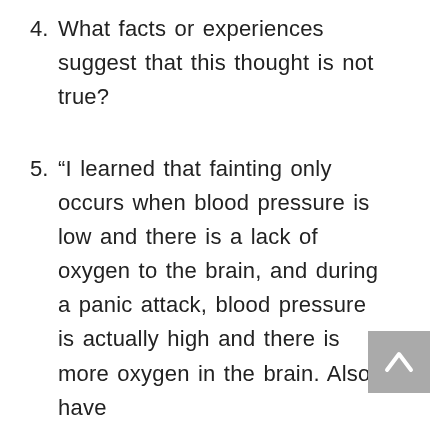4. What facts or experiences suggest that this thought is not true?
5. “I learned that fainting only occurs when blood pressure is low and there is a lack of oxygen to the brain, and during a panic attack, blood pressure is actually high and there is more oxygen in the brain. Also I have